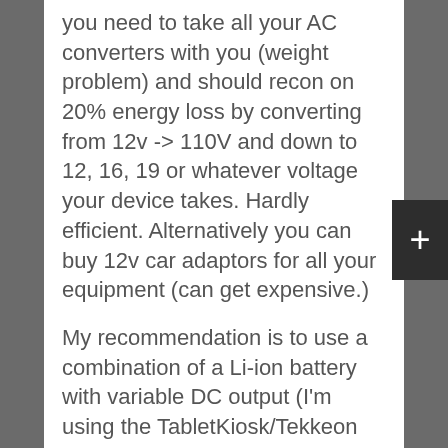you need to take all your AC converters with you (weight problem) and should recon on 20% energy loss by converting from 12v -> 110V and down to 12, 16, 19 or whatever voltage your device takes. Hardly efficient. Alternatively you can buy 12v car adaptors for all your equipment (can get expensive.)
My recommendation is to use a combination of a Li-ion battery with variable DC output (I'm using the TabletKiosk/Tekkeon MP3400)